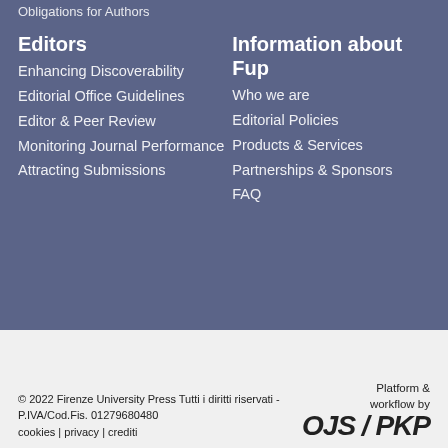Obligations for Authors
Editors
Enhancing Discoverability
Editorial Office Guidelines
Editor & Peer Review
Monitoring Journal Performance
Attracting Submissions
Information about Fup
Who we are
Editorial Policies
Products & Services
Partnerships & Sponsors
FAQ
© 2022 Firenze University Press Tutti i diritti riservati - P.IVA/Cod.Fis. 01279680480
cookies | privacy | crediti
Platform & workflow by OJS/PKP